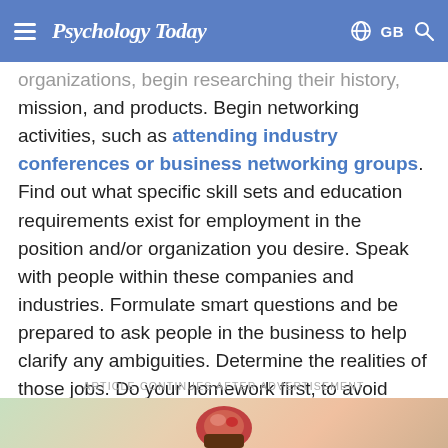Psychology Today — GB
organizations, begin researching their history, mission, and products. Begin networking activities, such as attending industry conferences or business networking groups. Find out what specific skill sets and education requirements exist for employment in the position and/or organization you desire. Speak with people within these companies and industries. Formulate smart questions and be prepared to ask people in the business to help clarify any ambiguities. Determine the realities of those jobs. Do your homework first, to avoid jumping from the frying pan into the fire!
ARTICLE CONTINUES AFTER ADVERTISEMENT
[Figure (photo): Partial advertisement image at the bottom of the page]